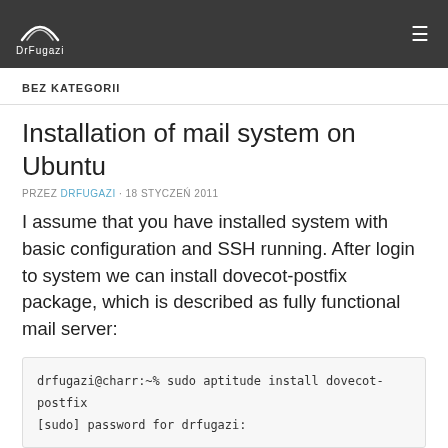DrFugazi
BEZ KATEGORII
Installation of mail system on Ubuntu
PRZEZ DRFUGAZI · 18 STYCZEŃ 2011
I assume that you have installed system with basic configuration and SSH running. After login to system we can install dovecot-postfix package, which is described as fully functional mail server:
drfugazi@charr:~% sudo aptitude install dovecot-postfix
[sudo] password for drfugazi: